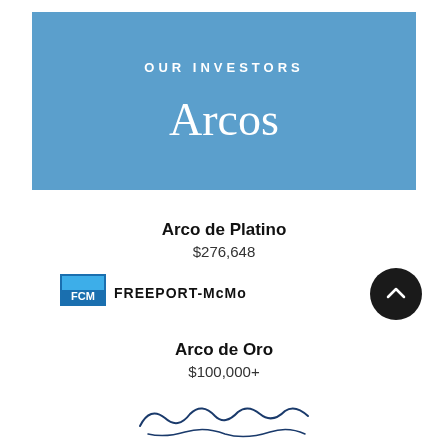[Figure (logo): Blue banner with 'OUR INVESTORS' text and 'Arcos' in cursive script]
Arco de Platino
$276,648
[Figure (logo): Freeport-McMoRan company logo with blue/black colors]
Arco de Oro
$100,000+
[Figure (illustration): Cursive signature/logo at bottom]